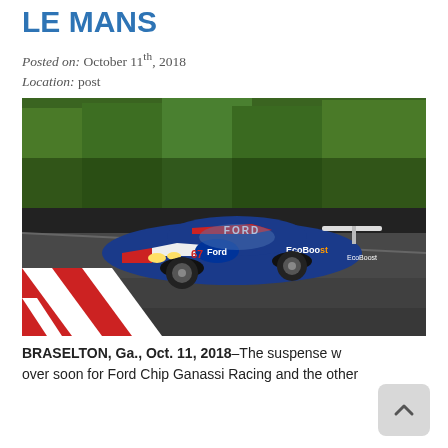LE MANS
Posted on: October 11th, 2018
Location: post
[Figure (photo): Ford GT race car in blue, red and white livery with EcoBoost branding, racing on a track with green trees in the background, red and white kerb visible]
BRASELTON, Ga., Oct. 11, 2018–The suspense will be over soon for Ford Chip Ganassi Racing and the other